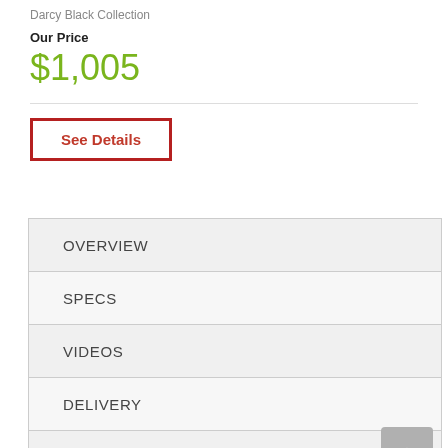Darcy Black Collection
Our Price
$1,005
See Details
OVERVIEW
SPECS
VIDEOS
DELIVERY
WARRANTY